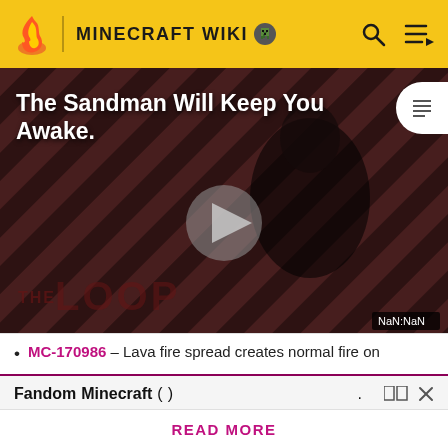MINECRAFT WIKI
[Figure (screenshot): Video thumbnail showing a dark-themed promotional image with diagonal stripes, a figure in black, title text 'The Sandman Will Keep You Awake.' with THE LOOP branding, and a play button in the center. Time display shows NaN:NaN.]
MC-170986 – Lava fire spread creates normal fire on
Fandom   Minecraft  (    )                    .      □□   ×
.
READ MORE